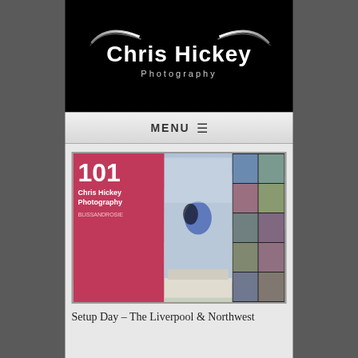[Figure (logo): Chris Hickey Photography logo with white bold text and silver decorative swoosh lines on black background]
MENU ☰
[Figure (photo): Photography exhibition booth setup showing booth number 101 with Chris Hickey Photography branding on pink/red panel, a central display with wedding couple photo, and right panel with grid of wedding photos]
Setup Day – The Liverpool & Northwest